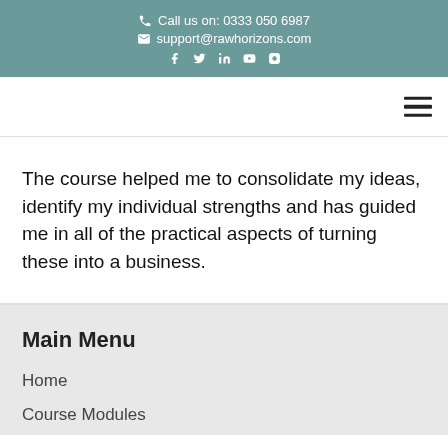Call us on: 0333 050 6987 | support@rawhorizons.com
The course helped me to consolidate my ideas, identify my individual strengths and has guided me in all of the practical aspects of turning these into a business.
Main Menu
Home
Course Modules